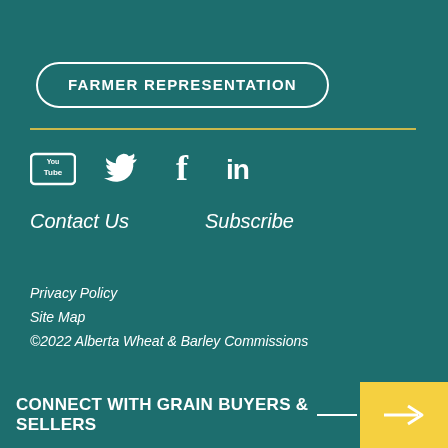FARMER REPRESENTATION
[Figure (illustration): Social media icons: YouTube, Twitter, Facebook, LinkedIn]
Contact Us
Subscribe
Privacy Policy
Site Map
©2022 Alberta Wheat & Barley Commissions
CONNECT WITH GRAIN BUYERS & SELLERS